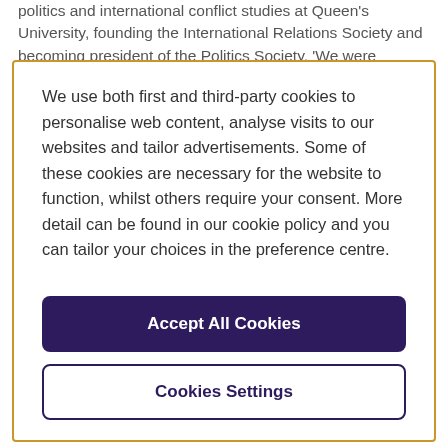politics and international conflict studies at Queen's University, founding the International Relations Society and becoming president of the Politics Society. 'We were
We use both first and third-party cookies to personalise web content, analyse visits to our websites and tailor advertisements. Some of these cookies are necessary for the website to function, whilst others require your consent. More detail can be found in our cookie policy and you can tailor your choices in the preference centre.
Accept All Cookies
Cookies Settings